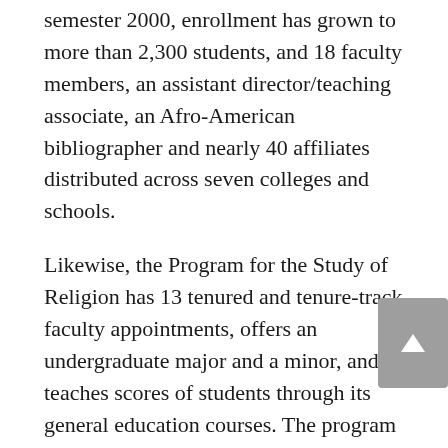semester 2000, enrollment has grown to more than 2,300 students, and 18 faculty members, an assistant director/teaching associate, an Afro-American bibliographer and nearly 40 affiliates distributed across seven colleges and schools.
Likewise, the Program for the Study of Religion has 13 tenured and tenure-track faculty appointments, offers an undergraduate major and a minor, and teaches scores of students through its general education courses. The program was formed as an academic unit about 30 years ago.
The senate also approved a proposal to establish the Center for Human Resource Management as a permanent unit. The CHRM, which was created in 1991, was granted temporary approval by the Illinois Board of Higher Education, and officials now are seeking permanent approval from the IBHE. The Institute of Labor and